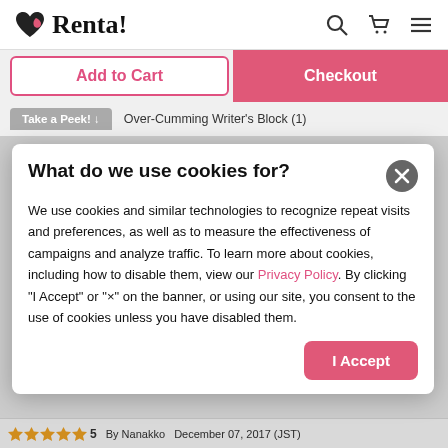Renta!
Add to Cart
Checkout
Take a Peek! ↓   Over-Cumming Writer's Block (1)
What do we use cookies for?
We use cookies and similar technologies to recognize repeat visits and preferences, as well as to measure the effectiveness of campaigns and analyze traffic. To learn more about cookies, including how to disable them, view our Privacy Policy. By clicking "I Accept" or "×" on the banner, or using our site, you consent to the use of cookies unless you have disabled them.
I Accept
★★★★★  5    By Nanakko    December 07, 2017 (JST)